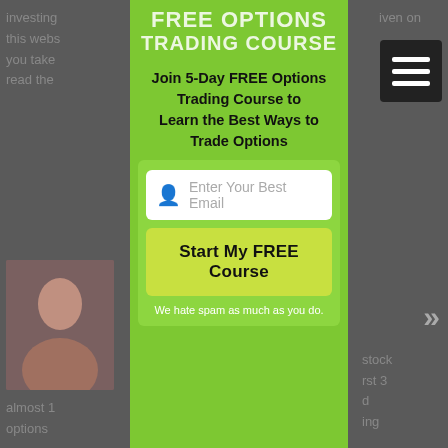investing
this webs
you take
read the
iven on
FREE OPTIONS TRADING COURSE
Join 5-Day FREE Options Trading Course to Learn the Best Ways to Trade Options
Enter Your Best Email
Start My FREE Course
We hate spam as much as you do.